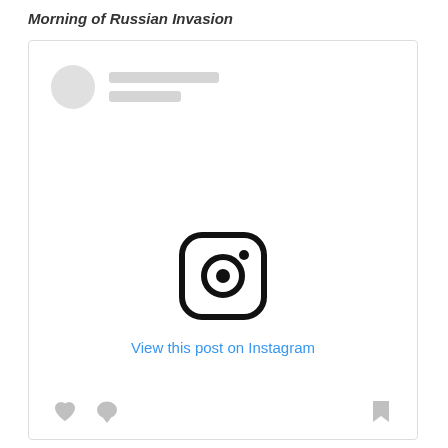Morning of Russian Invasion
[Figure (screenshot): An embedded Instagram post placeholder showing a profile avatar placeholder, two grey placeholder lines for the username, the Instagram camera logo icon in the center, a 'View this post on Instagram' blue text link, and bottom action icons (heart, comment, share) — all rendered as a white card with a light grey border.]